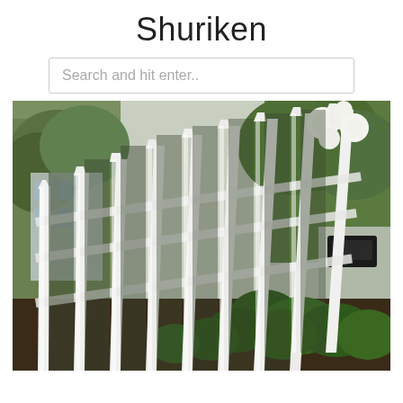Shuriken
Search and hit enter..
[Figure (photo): A white picket fence running diagonally from lower-left to upper-right, with green shrubs at the base and white flowering roses climbing the fence. Trees are visible in the background. A sidewalk and parked cars appear on the right side.]